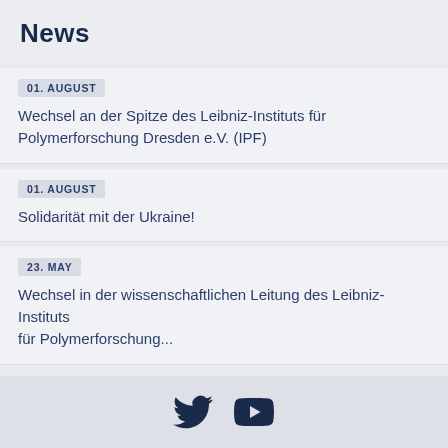News
01. AUGUST
Wechsel an der Spitze des Leibniz-Instituts für Polymerforschung Dresden e.V. (IPF)
01. AUGUST
Solidarität mit der Ukraine!
23. MAY
Wechsel in der wissenschaftlichen Leitung des Leibniz-Instituts für Polymerforschung...
[Figure (illustration): Twitter bird icon and YouTube play button icon in dark navy blue]